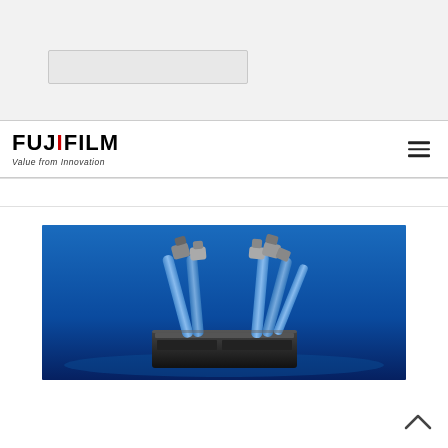[Figure (logo): FUJIFILM logo with tagline 'Value from Innovation']
[Figure (photo): Product photo of FUJIFILM device with blue tubes/connectors on dark background with blue gradient]